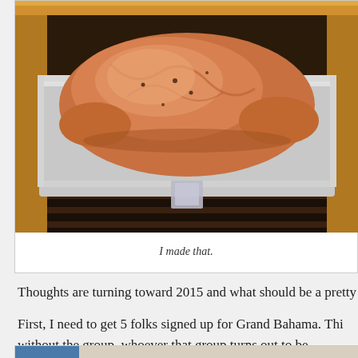[Figure (photo): A raw turkey in a foil roasting pan inside an oven, viewed from above at an angle. The oven grates and dark interior are visible beneath the pan.]
I made that.
Thoughts are turning toward 2015 and what should be a pretty fa
First, I need to get 5 folks signed up for Grand Bahama. Thi without the group, whoever that group turns out to be.
[Figure (photo): Partial view of a second photo, showing blue clothing on the left and a light background.]